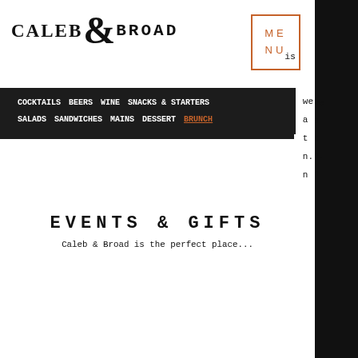[Figure (logo): Caleb & Broad logo with ampersand, black serif text]
[Figure (other): Orange bordered MENU box with ME/NU text]
COCKTAILS  BEERS  WINE  SNACKS & STARTERS
SALADS  SANDWICHES  MAINS  DESSERT  BRUNCH
January 2020, where an army of locals executed a more modern space and a brilliantly curated collection of local art. Caleb & Broad takes pride in showcasing art that is complex, thought-provoking & engaging. In addition to the gallery, the space includes two murals by artist Badway Creative & Ry Smith. We highly encourage you to come visit to admire, feast and vibe out.
[Figure (other): INSTAGRAM button with black border]
EVENTS & GIFTS
Caleb & Broad is the perfect place...